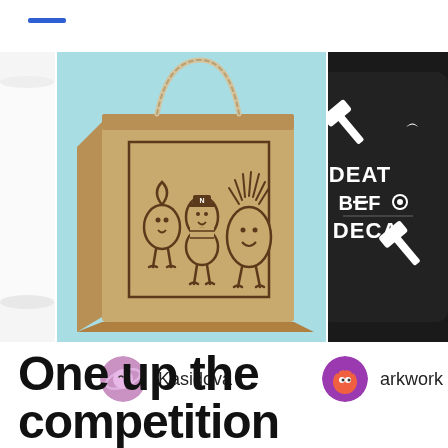[Figure (illustration): Blue horizontal bar/accent line at top left]
[Figure (photo): Partial white mug on left, cropped]
[Figure (photo): Center: kraft paper shopping bag on light blue background with cartoon characters (a droplet, a peanut with N hat, a wild-haired character) illustrated on it]
[Figure (photo): Right: dark black mug with white text and icon reading 'DEATH BEFORE DECAF' with crossed hammers, partially cropped]
Kasidova
arkwork
One up the competition